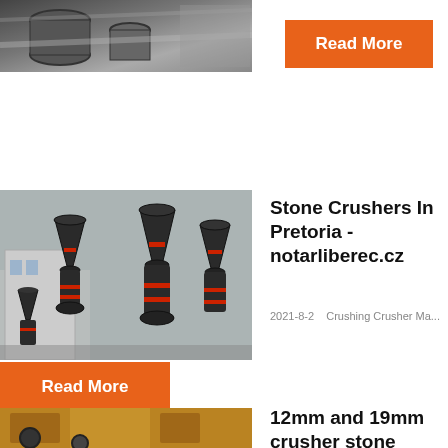[Figure (photo): Industrial machinery pipes and equipment, partial view at top of page]
Read More
[Figure (photo): Stone crushers / grinding mills industrial machinery in a factory setting, dark grey conical equipment with red accents]
Stone Crushers In Pretoria - notarliberec.cz
2021-8-2    Crushing Crusher Ma...
Read More
[Figure (photo): Yellow industrial crusher machine, partial view at bottom of page]
12mm and 19mm crusher stone